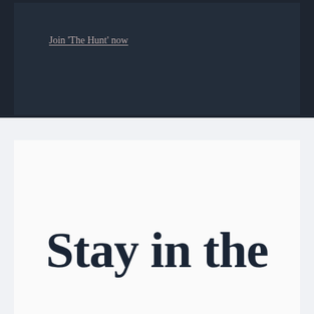Join 'The Hunt' now
Stay in the